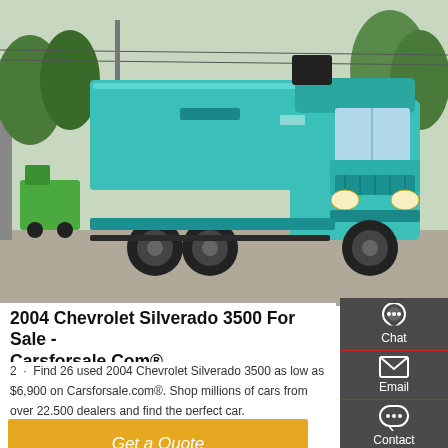[Figure (photo): A teal/turquoise Sinotruk HOWO dump truck photographed on a road, trees visible in background, other green trucks in background on the left.]
2004 Chevrolet Silverado 3500 For Sale - Carsforsale.Com®
2  ·  Find 26 used 2004 Chevrolet Silverado 3500 as low as $6,900 on Carsforsale.com®. Shop millions of cars from over 22,500 dealers and find the perfect car.
[Figure (infographic): Dark grey sidebar with four icon buttons: Chat (headset icon), Email (envelope icon), Contact (speech bubble icon), Top (upward arrow icon). Each separated by a red horizontal line.]
Get a Quote